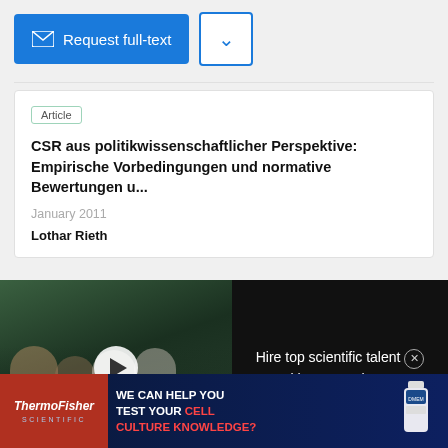[Figure (screenshot): Request full-text button (blue) and dropdown chevron button]
Article
CSR aus politikwissenschaftlicher Perspektive: Empirische Vorbedingungen und normative Bewertungen u...
January 2011
Lothar Rieth
[Figure (photo): Video overlay showing scientists in lab coats with play button, text: HIRE TOP SCIENTIFIC TALENT WITH RESEARCHGATE, and side panel: Hire top scientific talent with ResearchGate]
Read more
Advertisement
[Figure (photo): ThermoFisher Scientific advertisement banner: WE CAN HELP YOU TEST YOUR CELL CULTURE KNOWLEDGE?]